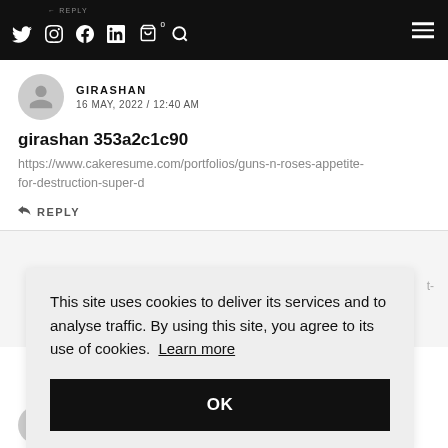REPLY | Twitter | Instagram | Facebook | LinkedIn | Cart 0 | Search | Menu
GIRASHAN
16 MAY, 2022 / 12:40 AM
girashan 353a2c1c90
https://www.cakeresume.com/portfolios/guns-n-roses-appetite-for-destruction-super-d
REPLY
This site uses cookies to deliver its services and to analyse traffic. By using this site, you agree to its use of cookies. Learn more
OK
16 MAY, 2022 / 2:58 AM